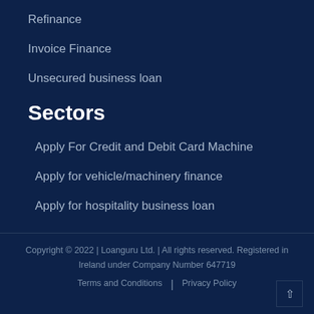Refinance
Invoice Finance
Unsecured business loan
Sectors
Apply For Credit and Debit Card Machine
Apply for vehicle/machinery finance
Apply for hospitality business loan
Copyright © 2022 | Loanguru Ltd. | All rights reserved. Registered in Ireland under Company Number 647719
Terms and Conditions | Privacy Policy